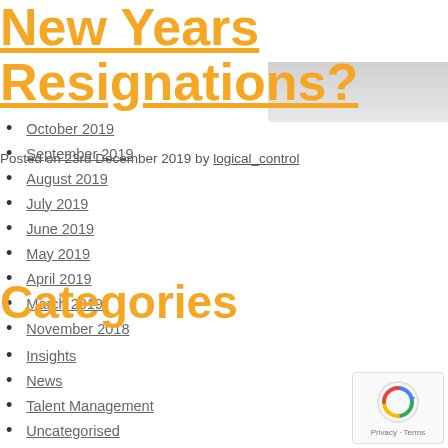New Years Resignations?
October 2019
September 2019
Posted on 23rd December 2019 by logical_control
August 2019
July 2019
June 2019
May 2019
April 2019
March 2019
November 2018
Categories
Insights
News
Talent Management
Uncategorised